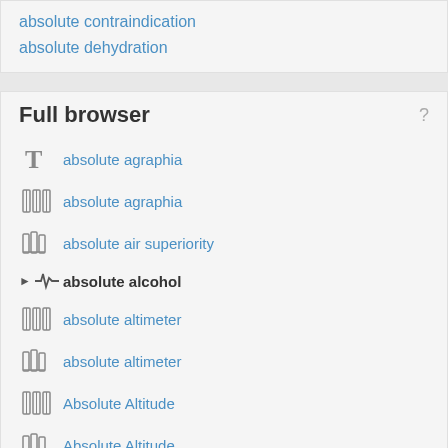absolute contraindication
absolute dehydration
Full browser
absolute agraphia
absolute agraphia
absolute air superiority
absolute alcohol
absolute altimeter
absolute altimeter
Absolute Altitude
Absolute Altitude